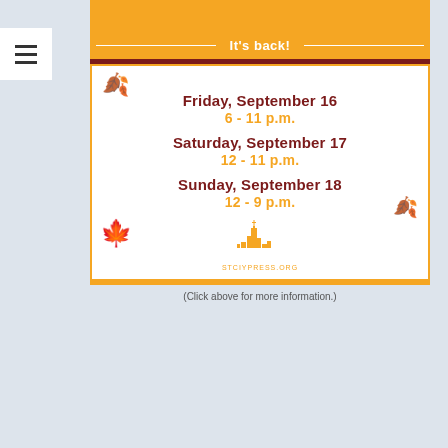[Figure (infographic): Event flyer for a festival, showing orange banner at top, 'It's back!' text, and schedule dates/times for Friday September 16 (6-11 p.m.), Saturday September 17 (12-11 p.m.), Sunday September 18 (12-9 p.m.) with decorative fall leaves and church/city skyline illustration. Website stciypress.org shown at bottom.]
(Click above for more information.)